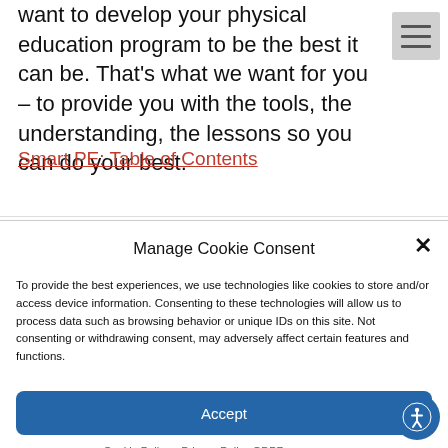want to develop your physical education program to be the best it can be. That's what we want for you – to provide you with the tools, the understanding, the lessons so you can do your best.
Smart PE: Table of Contents
Manage Cookie Consent
To provide the best experiences, we use technologies like cookies to store and/or access device information. Consenting to these technologies will allow us to process data such as browsing behavior or unique IDs on this site. Not consenting or withdrawing consent, may adversely affect certain features and functions.
Accept
Cookie Policy  Privacy Policy GDPR